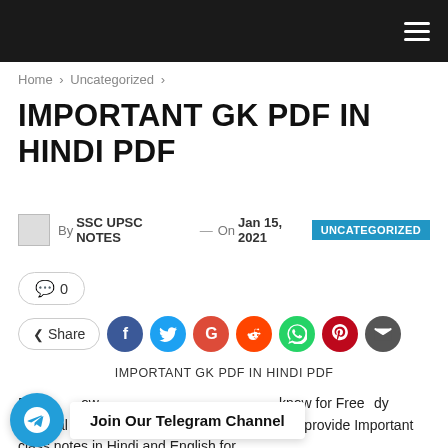Navigation bar with hamburger menu
Home > Uncategorized >
IMPORTANT GK PDF IN HINDI PDF
By SSC UPSC NOTES — On Jan 15, 2021  UNCATEGORIZED
💬 0
Share  [social icons: Facebook, Twitter, Google, Reddit, WhatsApp, Pinterest, Email]
IMPORTANT GK PDF IN HINDI PDF
Do you know for Free Study Material in Hindi And English. On this blog we provide Important class notes in Hindi and English for
[Figure (infographic): Telegram channel join banner with Telegram logo circle and 'Join Our Telegram Channel' text]